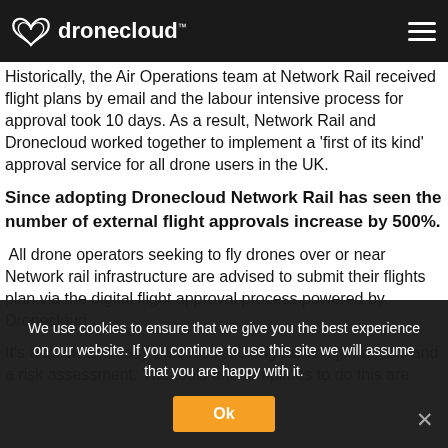dronecloud™
Historically, the Air Operations team at Network Rail received flight plans by email and the labour intensive process for approval took 10 days. As a result, Network Rail and Dronecloud worked together to implement a 'first of its kind' approval service for all drone users in the UK.
Since adopting Dronecloud Network Rail has seen the number of external flight approvals increase by 500%.
All drone operators seeking to fly drones over or near Network rail infrastructure are advised to submit their flights plan via the digital flight approval process powered by Dronecloud.
It's a quick and easy process requiring basic flight details and a risk assessment. The tools and templates to do this are
We use cookies to ensure that we give you the best experience on our website. If you continue to use this site we will assume that you are happy with it.